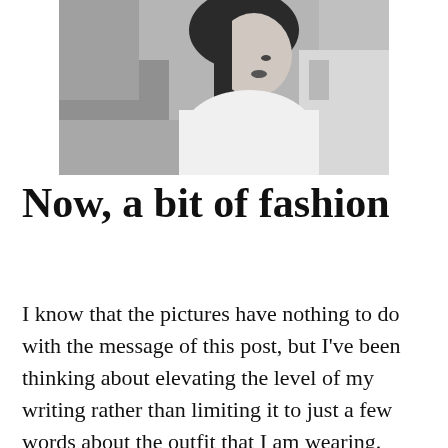[Figure (photo): Black and white photograph of a young woman with long dark hair, wearing a white top, photographed from the side against a wall with graffiti and trees in the background]
Now, a bit of fashion
I know that the pictures have nothing to do with the message of this post, but I've been thinking about elevating the level of my writing rather than limiting it to just a few words about the outfit that I am wearing. Don't get me wrong, this blog is still going to be a fashion blog, I am still going to